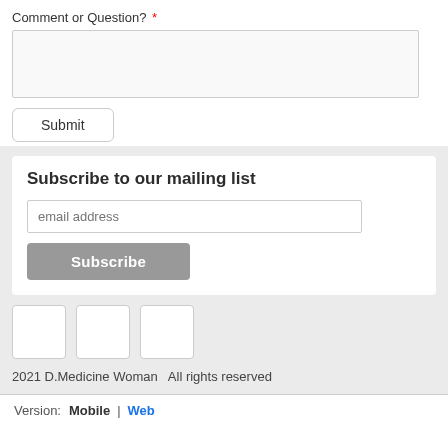Comment or Question? *
Submit
Subscribe to our mailing list
email address
Subscribe
[Figure (other): Three social media icon placeholder boxes]
2021 D.Medicine Woman  All rights reserved
Version:  Mobile | Web